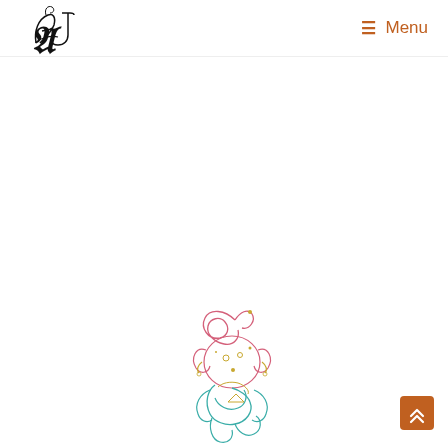[Figure (logo): Stylized cursive AJ monogram logo in black, ornate serif style]
≡ Menu
[Figure (illustration): Decorative line art illustration of Ganesha (Hindu deity with elephant head) drawn in thin colored lines — pink/red, gold, and teal/turquoise — on white background, minimalist artistic style, positioned at lower center of page]
[Figure (other): Orange scroll-to-top button with double chevron up arrow, positioned at bottom right corner]